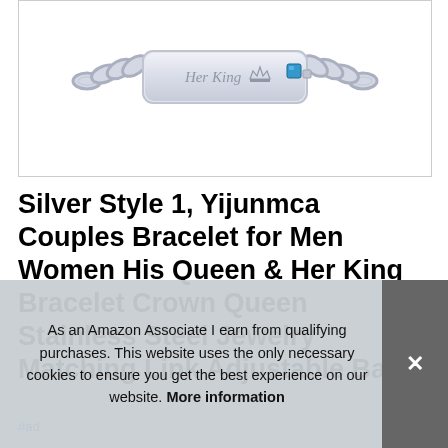[Figure (photo): Silver chain bracelet with ID bar engraved 'Her King' with a crown symbol and a blue gemstone, shown on white background]
Silver Style 1, Yijunmca Couples Bracelet for Men Women His Queen & Her King Bracelet Crown Queen Stainless Steel Jewelry Matching Link Adjustable Bracelet 27 Lover Silver Ba
#ad
As an Amazon Associate I earn from qualifying purchases. This website uses the only necessary cookies to ensure you get the best experience on our website. More information